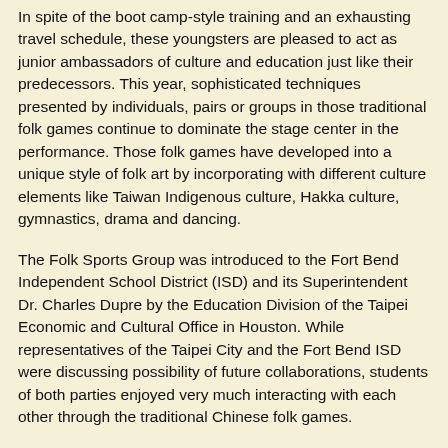In spite of the boot camp-style training and an exhausting travel schedule, these youngsters are pleased to act as junior ambassadors of culture and education just like their predecessors. This year, sophisticated techniques presented by individuals, pairs or groups in those traditional folk games continue to dominate the stage center in the performance. Those folk games have developed into a unique style of folk art by incorporating with different culture elements like Taiwan Indigenous culture, Hakka culture, gymnastics, drama and dancing.
The Folk Sports Group was introduced to the Fort Bend Independent School District (ISD) and its Superintendent Dr. Charles Dupre by the Education Division of the Taipei Economic and Cultural Office in Houston. While representatives of the Taipei City and the Fort Bend ISD were discussing possibility of future collaborations, students of both parties enjoyed very much interacting with each other through the traditional Chinese folk games.
To show how much they value their partnership with Houston ISD, the Taipei Department of Education scheduled a